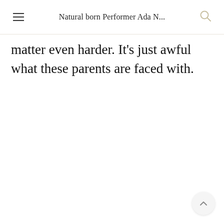Natural born Performer Ada N...
matter even harder. It’s just awful what these parents are faced with.